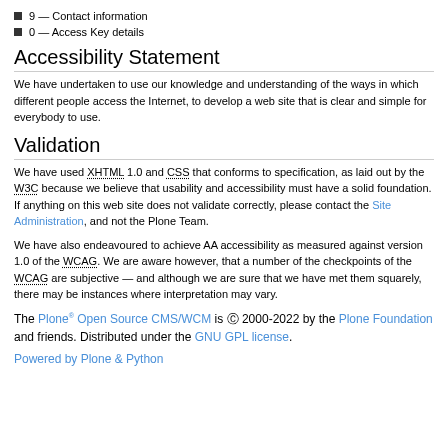9 — Contact information
0 — Access Key details
Accessibility Statement
We have undertaken to use our knowledge and understanding of the ways in which different people access the Internet, to develop a web site that is clear and simple for everybody to use.
Validation
We have used XHTML 1.0 and CSS that conforms to specification, as laid out by the W3C because we believe that usability and accessibility must have a solid foundation. If anything on this web site does not validate correctly, please contact the Site Administration, and not the Plone Team.
We have also endeavoured to achieve AA accessibility as measured against version 1.0 of the WCAG. We are aware however, that a number of the checkpoints of the WCAG are subjective — and although we are sure that we have met them squarely, there may be instances where interpretation may vary.
The Plone® Open Source CMS/WCM is © 2000-2022 by the Plone Foundation and friends. Distributed under the GNU GPL license.
Powered by Plone & Python